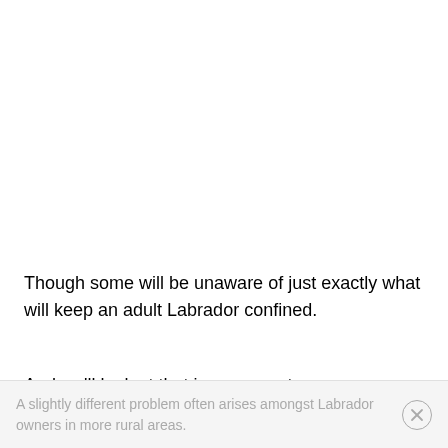Though some will be unaware of just exactly what will keep an adult Labrador confined.
And we'll look at that in a moment.
A slightly different problem often arises amongst Labrador owners in more rural areas.